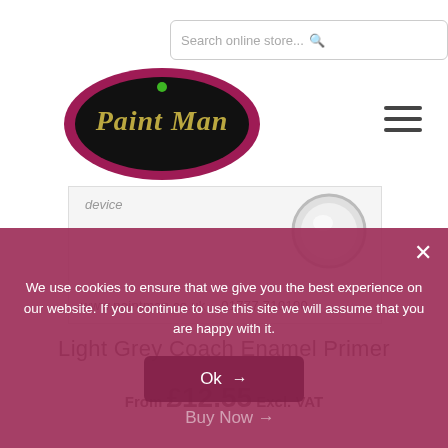[Figure (screenshot): Search bar with placeholder text 'Search online store...' and a search icon on the right]
[Figure (logo): Paint Man logo: oval shape with crimson/maroon border, black interior, text 'Paint Man' in gold/olive script with a small green dot above, on white background]
[Figure (photo): Product image area showing partial text 'device', a tin/can product image (circular, grey), and website URL 'www.paintman.co.uk  01777 710100']
Light Grey Coach Enamel Primer
From £12.55 Excl. VAT
We use cookies to ensure that we give you the best experience on our website. If you continue to use this site we will assume that you are happy with it.
Ok